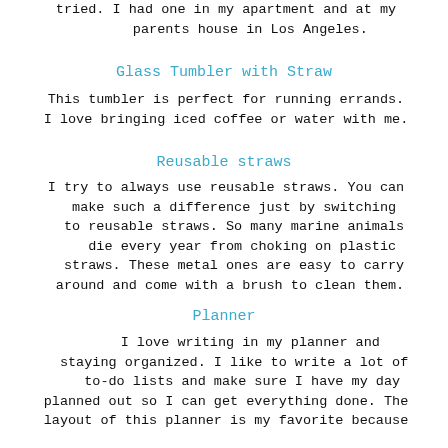tried. I had one in my apartment and at my parents house in Los Angeles.
Glass Tumbler with Straw
This tumbler is perfect for running errands. I love bringing iced coffee or water with me.
Reusable straws
I try to always use reusable straws. You can make such a difference just by switching to reusable straws. So many marine animals die every year from choking on plastic straws. These metal ones are easy to carry around and come with a brush to clean them.
Planner
I love writing in my planner and staying organized. I like to write a lot of to-do lists and make sure I have my day planned out so I can get everything done. The layout of this planner is my favorite because